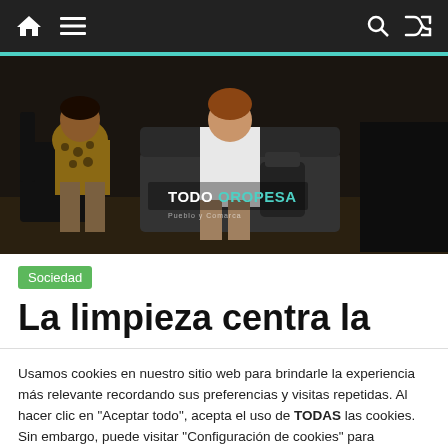Navigation bar with home, menu, search, and shuffle icons
[Figure (photo): Photo of people sitting, with TODOOROPESA watermark overlay]
Sociedad
La limpieza centra la
Usamos cookies en nuestro sitio web para brindarle la experiencia más relevante recordando sus preferencias y visitas repetidas. Al hacer clic en "Aceptar todo", acepta el uso de TODAS las cookies. Sin embargo, puede visitar "Configuración de cookies" para proporcionar un consentimiento controlado.
Configuración Cookies | Rechazar todo | Aceptar todo